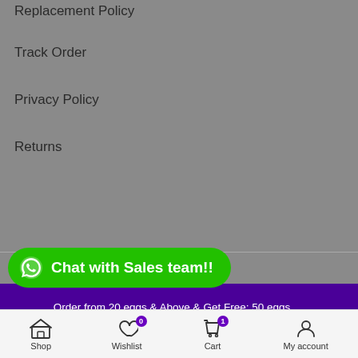Replacement Policy
Track Order
Privacy Policy
Returns
SEARCH PRODUCTS
[Figure (screenshot): Green WhatsApp chat button with text 'Chat with Sales team!!']
Search for products
Order from 20 eggs & Above & Get Free; 50 eggs automatic incubator,Egg candler & Free shipping.
Shop  Wishlist 0  Cart 1  My account